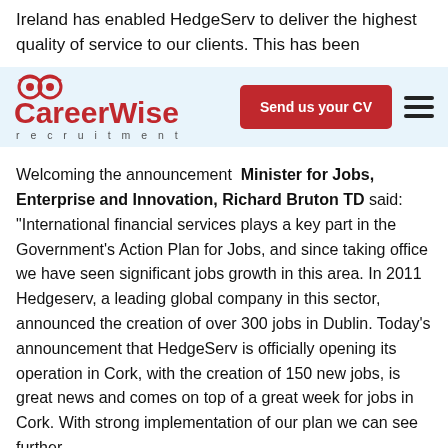Ireland has enabled HedgeServ to deliver the highest quality of service to our clients. This has been
[Figure (logo): CareerWise Recruitment logo with red owl-eye icon above bold red 'CareerWise' text and grey 'recruitment' in spaced letters below]
Send us your CV
Welcoming the announcement Minister for Jobs, Enterprise and Innovation, Richard Bruton TD said: “International financial services plays a key part in the Government’s Action Plan for Jobs, and since taking office we have seen significant jobs growth in this area. In 2011 Hedgeserv, a leading global company in this sector, announced the creation of over 300 jobs in Dublin. Today’s announcement that HedgeServ is officially opening its operation in Cork, with the creation of 150 new jobs, is great news and comes on top of a great week for jobs in Cork. With strong implementation of our plan we can see further